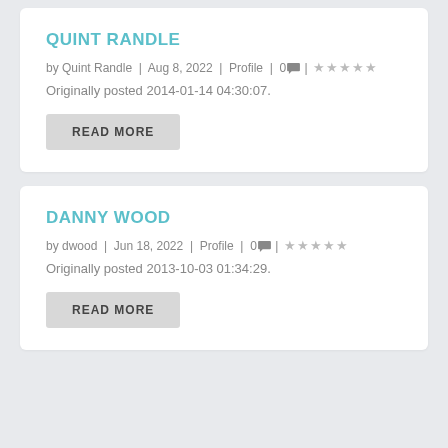QUINT RANDLE
by Quint Randle | Aug 8, 2022 | Profile | 0 💬 | ☆☆☆☆☆
Originally posted 2014-01-14 04:30:07.
READ MORE
DANNY WOOD
by dwood | Jun 18, 2022 | Profile | 0 💬 | ☆☆☆☆☆
Originally posted 2013-10-03 01:34:29.
READ MORE